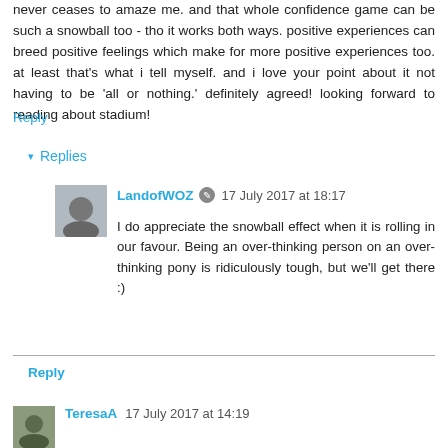never ceases to amaze me. and that whole confidence game can be such a snowball too - tho it works both ways. positive experiences can breed positive feelings which make for more positive experiences too. at least that's what i tell myself. and i love your point about it not having to be 'all or nothing.' definitely agreed! looking forward to reading about stadium!
Reply
▾ Replies
LandofWOZ  17 July 2017 at 18:17
I do appreciate the snowball effect when it is rolling in our favour. Being an over-thinking person on an over-thinking pony is ridiculously tough, but we'll get there :)
Reply
TeresaA  17 July 2017 at 14:19